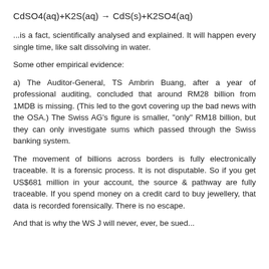...is a fact, scientifically analysed and explained. It will happen every single time, like salt dissolving in water.
Some other empirical evidence:
a) The Auditor-General, TS Ambrin Buang, after a year of professional auditing, concluded that around RM28 billion from 1MDB is missing. (This led to the govt covering up the bad news with the OSA.) The Swiss AG’s figure is smaller, "only" RM18 billion, but they can only investigate sums which passed through the Swiss banking system.
The movement of billions across borders is fully electronically traceable. It is a forensic process. It is not disputable. So if you get US$681 million in your account, the source & pathway are fully traceable. If you spend money on a credit card to buy jewellery, that data is recorded forensically. There is no escape.
And that is why the WS J will never, ever, be sued...